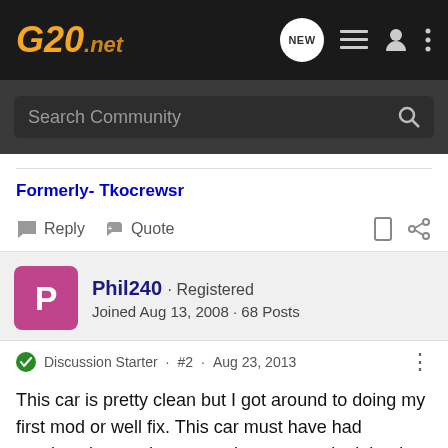G20.net
Search Community
Formerly- Tkocrewsr
Reply  Quote
Phil240 · Registered
Joined Aug 13, 2008 · 68 Posts
Discussion Starter · #2 · Aug 23, 2013
This car is pretty clean but I got around to doing my first mod or well fix. This car must have had previous battery issues so the tray was junk but i pulled the one off the t model i'm parting so here's a pic of old and new.